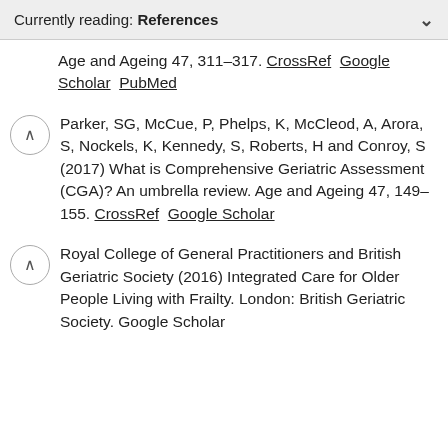Currently reading: References
Age and Ageing 47, 311–317. CrossRef  Google Scholar  PubMed
Parker, SG, McCue, P, Phelps, K, McCleod, A, Arora, S, Nockels, K, Kennedy, S, Roberts, H and Conroy, S (2017) What is Comprehensive Geriatric Assessment (CGA)? An umbrella review. Age and Ageing 47, 149–155. CrossRef  Google Scholar
Royal College of General Practitioners and British Geriatric Society (2016) Integrated Care for Older People Living with Frailty. London: British Geriatric Society. Google Scholar